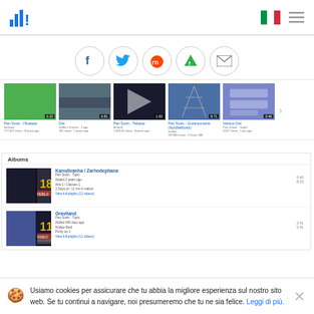Statsig logo, Italian flag, hamburger menu
[Figure (screenshot): Social sharing icons: Facebook, Twitter, Reddit, Feedly, Email — circular bordered icons in a row]
[Figure (screenshot): Video thumbnails row: Pan Sonic - Hloatace, Diw, Pan Sonic - Tebatse, Pan Sonic - Gusbnionneria (Nordhelifonia), Various Dist — with durations and metadata]
Albums
[Figure (screenshot): Album row 1: Karodivanha / Zarhodephana, Pan Sonic · Topic, Added 2 years ago, Aria 1 / Classes 1, 1 Days pt / 11 hrs in station, View full playlist (11 videos)]
[Figure (screenshot): Album row 2: Graviland, Pan Sonic · Topic, Added 445 days ago, Hollow Redi, Ponty up 1, View full playlist (11 videos)]
Usiamo cookies per assicurare che tu abbia la migliore esperienza sul nostro sito web. Se tu continui a navigare, noi presumeremo che tu ne sia felice. Leggi di più.